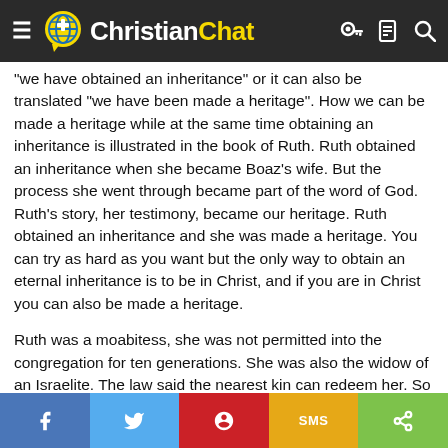Christian Chat
"we have obtained an inheritance" or it can also be translated "we have been made a heritage". How we can be made a heritage while at the same time obtaining an inheritance is illustrated in the book of Ruth. Ruth obtained an inheritance when she became Boaz's wife. But the process she went through became part of the word of God. Ruth's story, her testimony, became our heritage. Ruth obtained an inheritance and she was made a heritage. You can try as hard as you want but the only way to obtain an eternal inheritance is to be in Christ, and if you are in Christ you can also be made a heritage.
Ruth was a moabitess, she was not permitted into the congregation for ten generations. She was also the widow of an Israelite. The law said the nearest kin can redeem her. So which is it, can she be redeemed now or does she have to wait ten generations, how do you judge? God